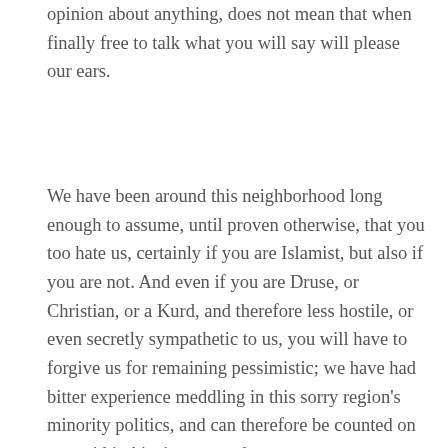opinion about anything, does not mean that when finally free to talk what you will say will please our ears.
We have been around this neighborhood long enough to assume, until proven otherwise, that you too hate us, certainly if you are Islamist, but also if you are not. And even if you are Druse, or Christian, or a Kurd, and therefore less hostile, or even secretly sympathetic to us, you will have to forgive us for remaining pessimistic; we have had bitter experience meddling in this sorry region's minority politics, and can therefore be counted on to avoid it this time around.
Moreover, chances are high that your Syria, while undoing the alliance with Iran, will become the proxy Turkey now wants to make of you, and who knows what surprises that will mean for all of us.